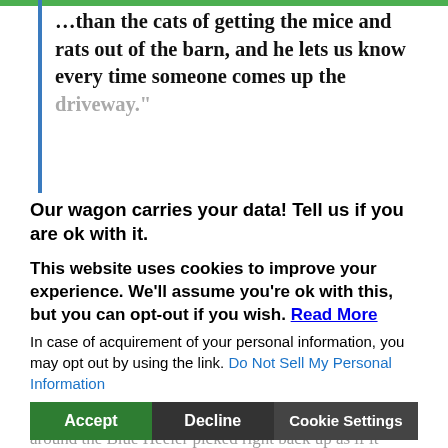...than the cats of getting the mice and rats out of the barn, and he lets us know every time someone comes up the driveway."
Our wagon carries your data! Tell us if you are ok with it.
This website uses cookies to improve your experience. We'll assume you're ok with this, but you can opt-out if you wish. Read More
In case of acquirement of your personal information, you may opt out by using the link. Do Not Sell My Personal Information
Accept | Decline | Cookie Settings
he asked a little more about training of his dog and the Amish fellow explained that his Blue Heeler was not hard to train. That it was almost as if "Amos" knew what to do without teaching him anything!!! That his love to help with the live stock was obvious and that it was possible to go weeks without moving the livestock or needing to separate the herd. Then when the time came around the Blue Heeler picked right back up as if it might add as this took place with the Amish farmer. I noticed two Amish